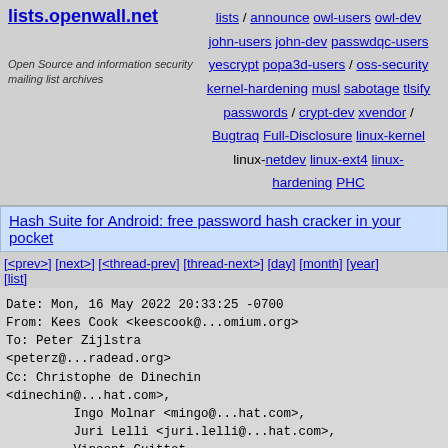lists.openwall.net | lists / announce owl-users owl-dev john-users john-dev passwdqc-users yescrypt popa3d-users / oss-security kernel-hardening musl sabotage tlsify passwords / crypt-dev xvendor / Bugtraq Full-Disclosure linux-kernel linux-netdev linux-ext4 linux-hardening PHC
Open Source and information security mailing list archives
Hash Suite for Android: free password hash cracker in your pocket
[<prev>] [next>] [<thread-prev] [thread-next>] [day] [month] [year] [list]
Date:    Mon, 16 May 2022 20:33:25 -0700
From:    Kees Cook <keescook@...omium.org>
To:      Peter Zijlstra <peterz@...radead.org>
Cc:      Christophe de Dinechin <dinechin@...hat.com>,
         Ingo Molnar <mingo@...hat.com>,
         Juri Lelli <juri.lelli@...hat.com>,
         Vincent Guittot <vincent.guittot@...aro.org>,
         Dietmar Eggemann